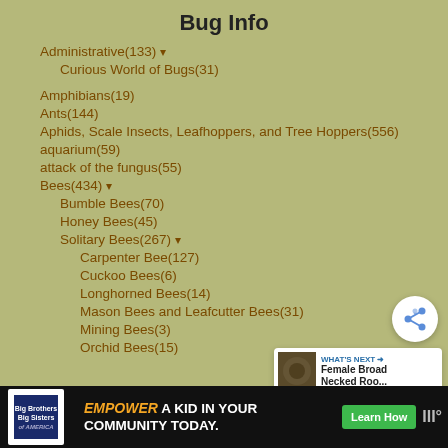Bug Info
Administrative(133) ▾
Curious World of Bugs(31)
Amphibians(19)
Ants(144)
Aphids, Scale Insects, Leafhoppers, and Tree Hoppers(556)
aquarium(59)
attack of the fungus(55)
Bees(434) ▾
Bumble Bees(70)
Honey Bees(45)
Solitary Bees(267) ▾
Carpenter Bee(127)
Cuckoo Bees(6)
Longhorned Bees(14)
Mason Bees and Leafcutter Bees(31)
Mining Bees(3)
Orchid Bees(15)
[Figure (screenshot): Share button overlay (circular white button with share icon)]
[Figure (screenshot): What's Next panel showing Female Broad Necked Roo...]
[Figure (screenshot): Advertisement bar at bottom: Big Brothers Big Sisters - Empower a Kid in Your Community Today. Learn How. Weather icon.]